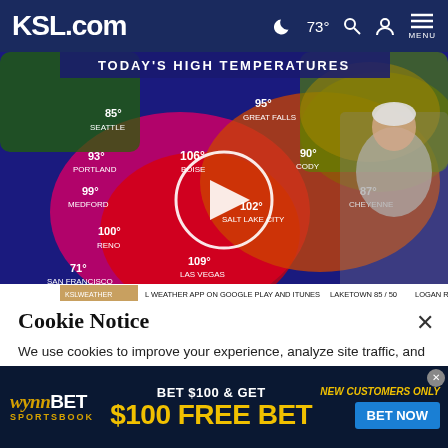KSL.com  73°  MENU
[Figure (screenshot): Weather broadcast video thumbnail showing a US map with today's high temperatures. Temperatures shown include: Seattle 85°, Great Falls 95°, Portland 93°, Boise 106°, Cody 90°, Medford 99°, Salt Lake City 102°, Cheyenne 87°, Reno 100°, San Francisco 71°, Las Vegas 109°, Phoenix 109°, Los Angeles 91°, Albuquerque 86°. A play button circle is overlaid in the center. A weatherman in a grey suit stands to the right. Bottom ticker reads: KSL WEATHER APP ON GOOGLE PLAY AND ITUNES  LAKETOWN 85/50  LOGAN R...]
Cookie Notice
We use cookies to improve your experience, analyze site traffic, and to personalize content and ads. By continuing to use our site, you consent to our use of cookies. Please visit our Terms of Use and Privacy Policy for more information
[Figure (screenshot): WynnBET Sportsbook advertisement banner. Text reads: BET $100 & GET $100 FREE BET. NEW CUSTOMERS ONLY. BET NOW button.]